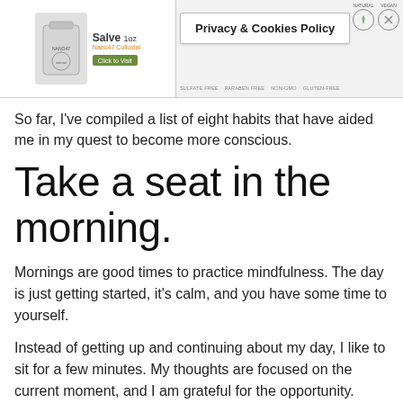[Figure (other): Advertisement banner for Nano47 Colloidal Salve product with Privacy & Cookies Policy popup overlay and natural/vegan/sulfate-free/paraben-free/non-GMO/gluten-free badges]
So far, I've compiled a list of eight habits that have aided me in my quest to become more conscious.
Take a seat in the morning.
Mornings are good times to practice mindfulness. The day is just getting started, it's calm, and you have some time to yourself.
Instead of getting up and continuing about my day, I like to sit for a few minutes. My thoughts are focused on the current moment, and I am grateful for the opportunity.